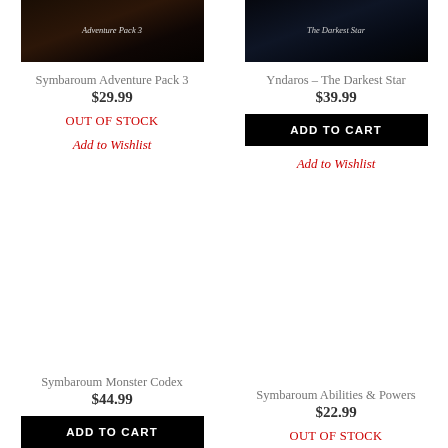[Figure (photo): Symbaroum Adventure Pack 3 product image - dark fantasy book cover]
Symbaroum Adventure Pack 3
$29.99
OUT OF STOCK
Add to Wishlist
[Figure (photo): Yndaros - The Darkest Star product image - dark fantasy book cover]
Yndaros - The Darkest Star
$39.99
ADD TO CART
Add to Wishlist
[Figure (photo): Symbaroum Monster Codex product image - dark fantasy book cover]
Symbaroum Monster Codex
$44.99
ADD TO CART
[Figure (photo): Symbaroum Abilities & Powers product image - dark fantasy book cover]
Symbaroum Abilities & Powers
$22.99
OUT OF STOCK